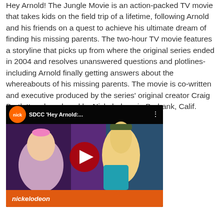Hey Arnold! The Jungle Movie is an action-packed TV movie that takes kids on the field trip of a lifetime, following Arnold and his friends on a quest to achieve his ultimate dream of finding his missing parents. The two-hour TV movie features a storyline that picks up from where the original series ended in 2004 and resolves unanswered questions and plotlines- including Arnold finally getting answers about the whereabouts of his missing parents. The movie is co-written and executive produced by the series' original creator Craig Bartlett and produced by Nickelodeon in Burbank, Calif.
[Figure (screenshot): YouTube video embed thumbnail for SDCC 'Hey Arnold:...' Nickelodeon video, showing animated characters with a red play button in the center.]